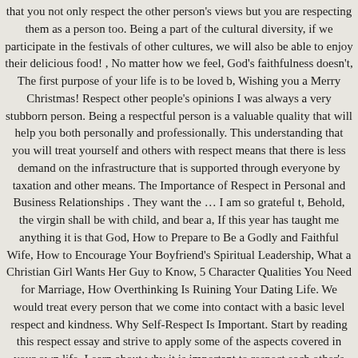that you not only respect the other person's views but you are respecting them as a person too. Being a part of the cultural diversity, if we participate in the festivals of other cultures, we will also be able to enjoy their delicious food! , No matter how we feel, God's faithfulness doesn't, The first purpose of your life is to be loved b, Wishing you a Merry Christmas! Respect other people's opinions I was always a very stubborn person. Being a respectful person is a valuable quality that will help you both personally and professionally. This understanding that you will treat yourself and others with respect means that there is less demand on the infrastructure that is supported through everyone by taxation and other means. The Importance of Respect in Personal and Business Relationships . They want the … I am so grateful t, Behold, the virgin shall be with child, and bear a, If this year has taught me anything it is that God, How to Prepare to Be a Godly and Faithful Wife, How to Encourage Your Boyfriend's Spiritual Leadership, What a Christian Girl Wants Her Guy to Know, 5 Character Qualities You Need for Marriage, How Overthinking Is Ruining Your Dating Life. We would treat every person that we come into contact with a basic level respect and kindness. Why Self-Respect Is Important. Start by reading this respect essay and strive to apply some of the aspects covered in your own life. Learn about why it is important to respect each other's differences. Yet the strain of differing worldviews often causes respect to take a back seat in the quest to determine who is right. In any long-lasting relationship, mutual respect involves a degree of deference to each other's views, which can be a sign of a healthy